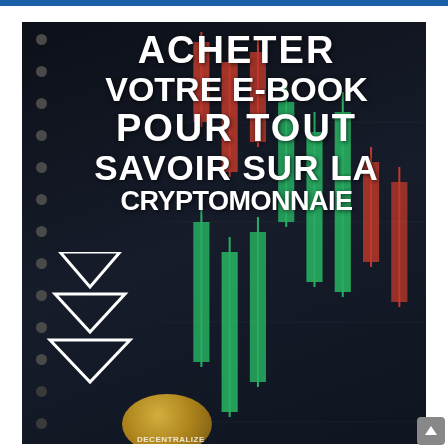[Figure (illustration): Book cover promotional image for a cryptocurrency e-book. Dark background with trading candlestick chart visible on the right side, a column of dark dots on the left, three downward-pointing triangles in white outline in the lower-left area, and a gold Bitcoin coin partially visible at the bottom. Large white bold uppercase text overlay reads: ACHETER VOTRE E-BOOK POUR TOUT SAVOIR SUR LA CRYPTOMONNAIE]